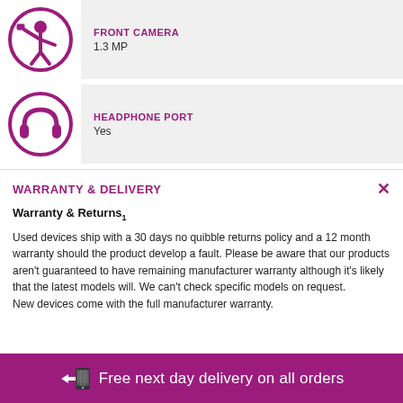[Figure (illustration): Purple circle icon with silhouette of person taking selfie (front camera icon)]
FRONT CAMERA
1.3 MP
[Figure (illustration): Purple circle icon with headphones symbol (headphone port icon)]
HEADPHONE PORT
Yes
WARRANTY & DELIVERY
Warranty & Returns1
Used devices ship with a 30 days no quibble returns policy and a 12 month warranty should the product develop a fault. Please be aware that our products aren't guaranteed to have remaining manufacturer warranty although it's likely that the latest models will. We can't check specific models on request.
New devices come with the full manufacturer warranty.
Free next day delivery on all orders